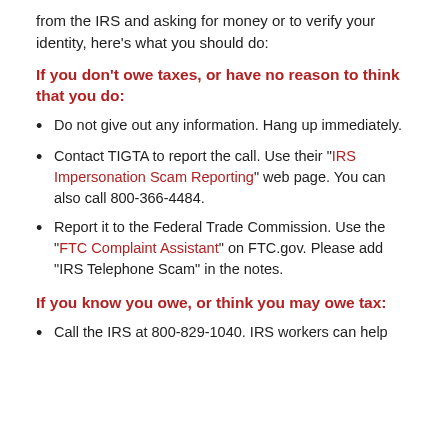from the IRS and asking for money or to verify your identity, here’s what you should do:
If you don’t owe taxes, or have no reason to think that you do:
Do not give out any information. Hang up immediately.
Contact TIGTA to report the call. Use their “IRS Impersonation Scam Reporting” web page. You can also call 800-366-4484.
Report it to the Federal Trade Commission. Use the “FTC Complaint Assistant” on FTC.gov. Please add “IRS Telephone Scam” in the notes.
If you know you owe, or think you may owe tax:
Call the IRS at 800-829-1040. IRS workers can help